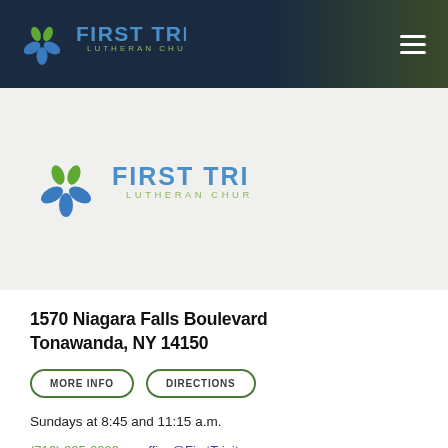[Figure (logo): First Trinity Lutheran Church logo in dark header bar with hamburger menu icon]
[Figure (logo): First Trinity Lutheran Church logo in light gray content area]
1570 Niagara Falls Boulevard
Tonawanda, NY 14150
MORE INFO   DIRECTIONS
Sundays at 8:45 and 11:15 a.m.
(716) 835-2220    office@FirstTrinity.com
[Figure (map): Partial street map at bottom of page showing road intersections]